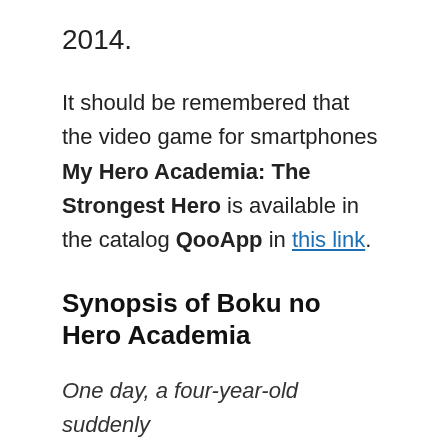2014.
It should be remembered that the video game for smartphones My Hero Academia: The Strongest Hero is available in the catalog QooApp in this link.
Synopsis of Boku no Hero Academia
One day, a four-year-old suddenly